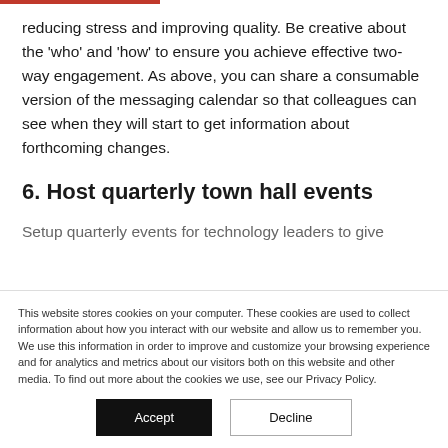reducing stress and improving quality. Be creative about the 'who' and 'how' to ensure you achieve effective two-way engagement. As above, you can share a consumable version of the messaging calendar so that colleagues can see when they will start to get information about forthcoming changes.
6. Host quarterly town hall events
Setup quarterly events for technology leaders to give
This website stores cookies on your computer. These cookies are used to collect information about how you interact with our website and allow us to remember you. We use this information in order to improve and customize your browsing experience and for analytics and metrics about our visitors both on this website and other media. To find out more about the cookies we use, see our Privacy Policy.